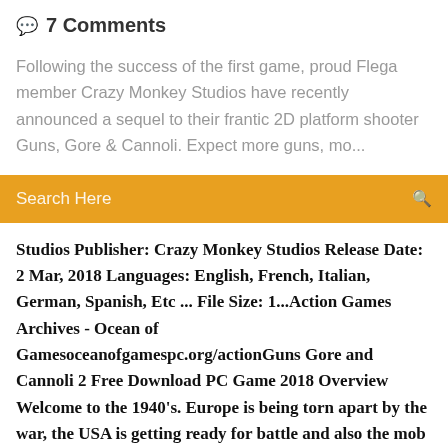💬 7 Comments
Following the success of the first game, proud Flega member Crazy Monkey Studios have recently announced a sequel to their frantic 2D platform shooter Guns, Gore & Cannoli. Expect more guns, mo...
Search Here
Studios Publisher: Crazy Monkey Studios Release Date: 2 Mar, 2018 Languages: English, French, Italian, German, Spanish, Etc ... File Size: 1...Action Games Archives - Ocean of Gamesoceanofgamespc.org/actionGuns Gore and Cannoli 2 Free Download PC Game 2018 Overview Welcome to the 1940's. Europe is being torn apart by the war, the USA is getting ready for battle and also the mob will business
25 Jan 2017 Guns, Gore & Cannoli (EUR) PC Download for PC/Windows. Game description, information and PC download page.